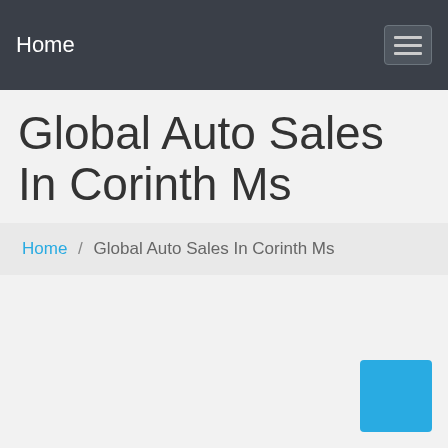Home
Global Auto Sales In Corinth Ms
Home / Global Auto Sales In Corinth Ms